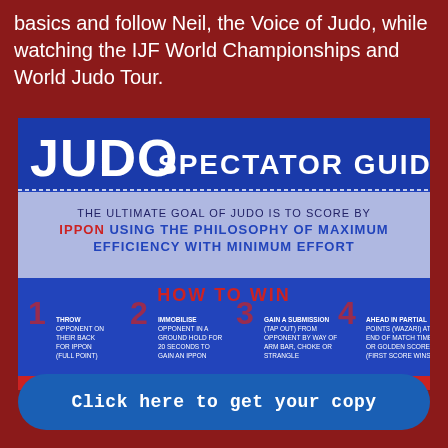basics and follow Neil, the Voice of Judo, while watching the IJF World Championships and World Judo Tour.
[Figure (infographic): Judo Spectator Guide infographic with blue background. Title says 'JUDO SPECTATOR GUIDE'. Subtitle: 'THE ULTIMATE GOAL OF JUDO IS TO SCORE BY IPPON USING THE PHILOSOPHY OF MAXIMUM EFFICIENCY WITH MINIMUM EFFORT'. Section 'HOW TO WIN' lists 4 ways: 1) Throw opponent on their back for Ippon (Full Point), 2) Immobilise opponent in a ground hold for 20 seconds to gain an Ippon, 3) Gain a submission (tap out) from opponent by way of arm bar, choke or strangle, 4) Ahead in partial points (Wazari) at end of match time or Golden Score (first score wins).]
Click here to get your copy